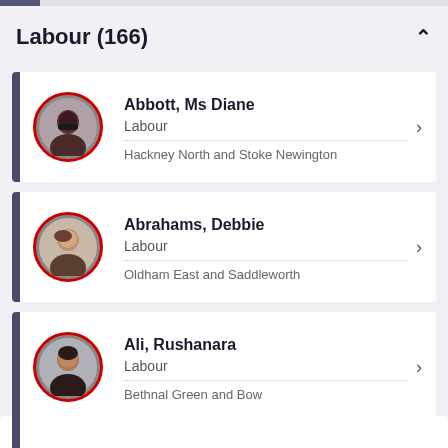Labour (166)
Abbott, Ms Diane | Labour | Hackney North and Stoke Newington
Abrahams, Debbie | Labour | Oldham East and Saddleworth
Ali, Rushanara | Labour | Bethnal Green and Bow